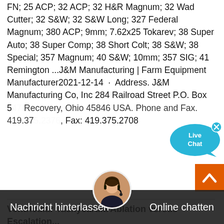FN; 25 ACP; 32 ACP; 32 H&R Magnum; 32 Wad Cutter; 32 S&W; 32 S&W Long; 327 Federal Magnum; 380 ACP; 9mm; 7.62x25 Tokarev; 38 Super Auto; 38 Super Comp; 38 Short Colt; 38 S&W; 38 Special; 357 Magnum; 40 S&W; 10mm; 357 SIG; 41 Remington ...J&M Manufacturing | Farm Equipment Manufacturer2021-12-14 · Address. J&M Manufacturing Co, Inc 284 Railroad Street P.O. Box 547 Recovery, Ohio 45846 USA. Phone and Fax. 419.375.2376, Fax: 419.375.2708
[Figure (other): Live Chat widget bubble — teal speech bubble with 'Live Chat' text and an X close button]
Ventricular Tachycardia Ablation versus Escalation...
2016-5-6 · In patients with ischemic cardiomyopathy and an ICD who had ventricular tachycardia despite antiarrhythmic drug therapy, there was a significantly lower rate of the composite primary outcome death, ventricular tachycardia storm, or appropriate ICD shock among patients undergoing
[Figure (other): Orange scroll-to-top button with upward chevron arrow]
[Figure (other): Dark chat bar overlay at bottom with 'Nachricht hinterlassen' on left, agent avatar in center, 'Online chatten' on right]